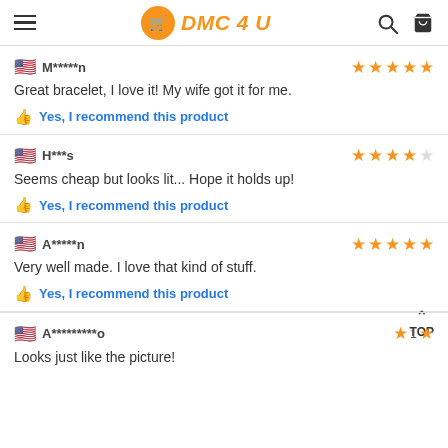DMC 4 U
M*****n
Great bracelet, I love it! My wife got it for me.
Yes, I recommend this product
H***s
Seems cheap but looks lit... Hope it holds up!
Yes, I recommend this product
A*****n
Very well made. I love that kind of stuff.
Yes, I recommend this product
A*********o
Looks just like the picture!